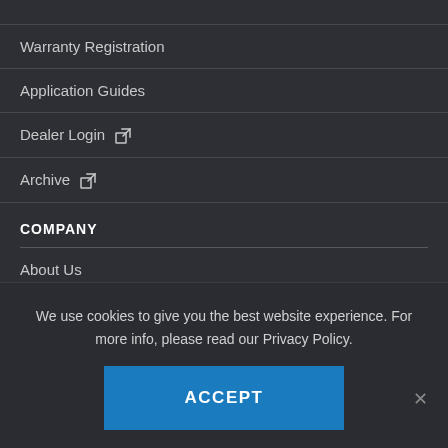Warranty Registration
Application Guides
Dealer Login ↗
Archive ↗
COMPANY
About Us
News & Events
Test Trucks Wanted
We use cookies to give you the best website experience. For more info, please read our Privacy Policy.
ACCEPT